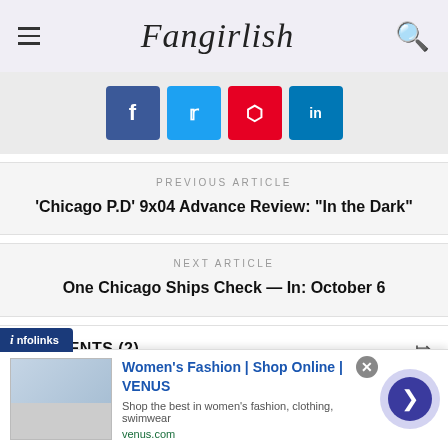Fangirlish
[Figure (other): Social share buttons: Facebook (blue), Twitter (cyan), Pinterest (red), LinkedIn (blue)]
PREVIOUS ARTICLE
'Chicago P.D' 9x04 Advance Review: "In the Dark"
NEXT ARTICLE
One Chicago Ships Check — In: October 6
COMMENTS (2)
[Figure (screenshot): Infolinks advertisement overlay: Women's Fashion | Shop Online | VENUS — Shop the best in women's fashion, clothing, swimwear — venus.com]